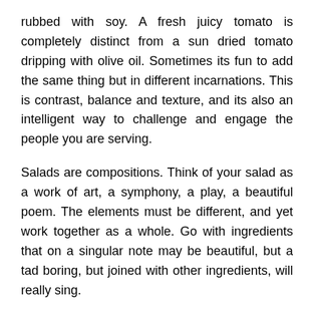rubbed with soy. A fresh juicy tomato is completely distinct from a sun dried tomato dripping with olive oil. Sometimes its fun to add the same thing but in different incarnations. This is contrast, balance and texture, and its also an intelligent way to challenge and engage the people you are serving.
Salads are compositions. Think of your salad as a work of art, a symphony, a play, a beautiful poem. The elements must be different, and yet work together as a whole. Go with ingredients that on a singular note may be beautiful, but a tad boring, but joined with other ingredients, will really sing.
Exotic or Special
When you say salad most people cant resist yawning, or